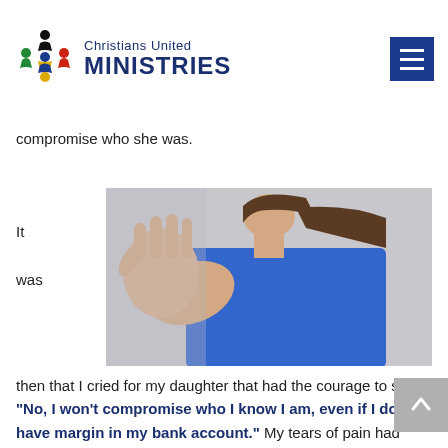Christians United MINISTRIES
compromise who she was.
It was
[Figure (photo): Woman in blue sleeveless top holding up her open hand/palm toward the camera in a stop gesture, light grey background]
then that I cried for my daughter that had the courage to say "No, I won't compromise who I know I am, even if I don't have margin in my bank account." My tears of pain had become tears of honor, pride, and